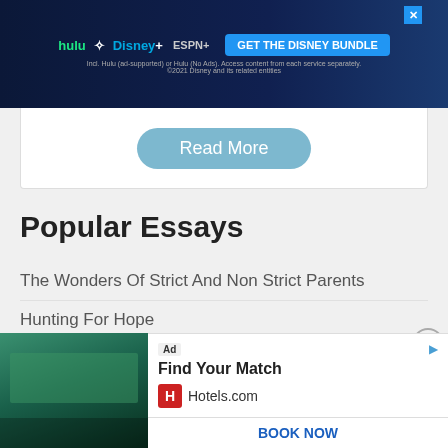[Figure (screenshot): Disney Bundle advertisement banner with Hulu, Disney+, ESPN+ logos and 'GET THE DISNEY BUNDLE' text on dark blue background]
[Figure (screenshot): 'Read More' button inside white box below ad banner]
Popular Essays
The Wonders Of Strict And Non Strict Parents
Hunting For Hope
ECO 502 Essay 1 Spring 2015
Chapter 8 LINUX Answers
ACCT 5... And Answe...
New Bo...
[Figure (screenshot): Hotels.com advertisement with tropical resort photo, 'Find Your Match' text, Hotels.com logo, and BOOK NOW button]